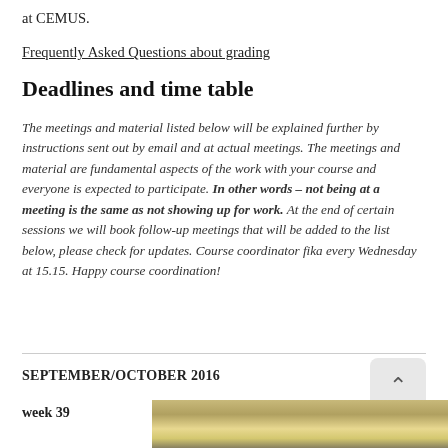at CEMUS.
Frequently Asked Questions about grading
Deadlines and time table
The meetings and material listed below will be explained further by instructions sent out by email and at actual meetings. The meetings and material are fundamental aspects of the work with your course and everyone is expected to participate. In other words – not being at a meeting is the same as not showing up for work. At the end of certain sessions we will book follow-up meetings that will be added to the list below, please check for updates. Course coordinator fika every Wednesday at 15.15. Happy course coordination!
SEPTEMBER/OCTOBER 2016
week 39
[Figure (photo): Interior photo showing ceiling lights and architectural elements, partially visible at bottom of page]